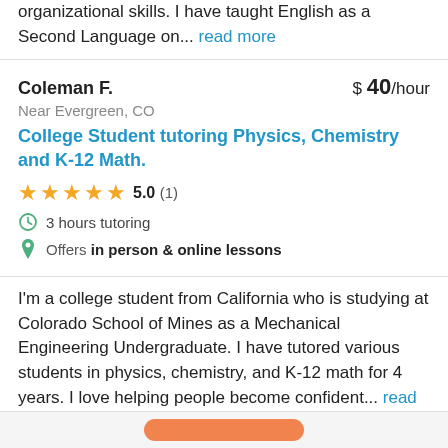organizational skills. I have taught English as a Second Language on... read more
Coleman F.
$ 40/hour
Near Evergreen, CO
College Student tutoring Physics, Chemistry and K-12 Math.
5.0 (1)
3 hours tutoring
Offers in person & online lessons
I'm a college student from California who is studying at Colorado School of Mines as a Mechanical Engineering Undergraduate. I have tutored various students in physics, chemistry, and K-12 math for 4 years. I love helping people become confident... read more